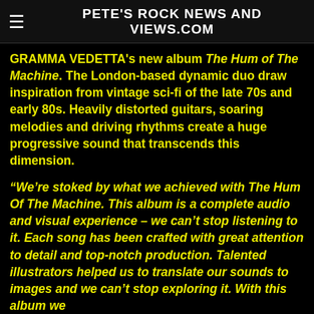PETE'S ROCK NEWS AND VIEWS.COM
GRAMMA VEDETTA's new album The Hum of The Machine. The London-based dynamic duo draw inspiration from vintage sci-fi of the late 70s and early 80s. Heavily distorted guitars, soaring melodies and driving rhythms create a huge progressive sound that transcends this dimension.
“We’re stoked by what we achieved with The Hum Of The Machine. This album is a complete audio and visual experience – we can’t stop listening to it. Each song has been crafted with great attention to detail and top-notch production. Talented illustrators helped us to translate our sounds to images and we can’t stop exploring it. With this album we